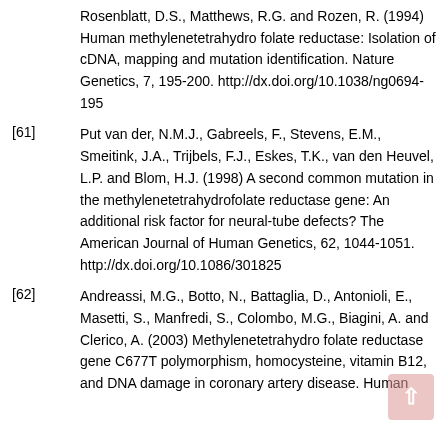Rosenblatt, D.S., Matthews, R.G. and Rozen, R. (1994) Human methylenetetrahydro folate reductase: Isolation of cDNA, mapping and mutation identification. Nature Genetics, 7, 195-200. http://dx.doi.org/10.1038/ng0694-195
[61] Put van der, N.M.J., Gabreels, F., Stevens, E.M., Smeitink, J.A., Trijbels, F.J., Eskes, T.K., van den Heuvel, L.P. and Blom, H.J. (1998) A second common mutation in the methylenetetrahydrofolate reductase gene: An additional risk factor for neural-tube defects? The American Journal of Human Genetics, 62, 1044-1051. http://dx.doi.org/10.1086/301825
[62] Andreassi, M.G., Botto, N., Battaglia, D., Antonioli, E., Masetti, S., Manfredi, S., Colombo, M.G., Biagini, A. and Clerico, A. (2003) Methylenetetrahydro folate reductase gene C677T polymorphism, homocysteine, vitamin B12, and DNA damage in coronary artery disease. Human